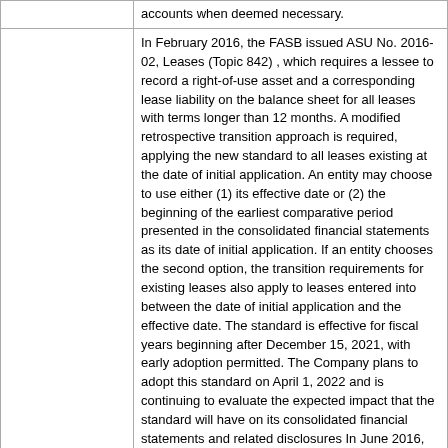| Category | Description |
| --- | --- |
|  | accounts when deemed necessary. |
| Recently Issued Accounting Pronouncements Not Yet Adopted | In February 2016, the FASB issued ASU No. 2016-02, Leases (Topic 842) , which requires a lessee to record a right-of-use asset and a corresponding lease liability on the balance sheet for all leases with terms longer than 12 months. A modified retrospective transition approach is required, applying the new standard to all leases existing at the date of initial application. An entity may choose to use either (1) its effective date or (2) the beginning of the earliest comparative period presented in the consolidated financial statements as its date of initial application. If an entity chooses the second option, the transition requirements for existing leases also apply to leases entered into between the date of initial application and the effective date. The standard is effective for fiscal years beginning after December 15, 2021, with early adoption permitted. The Company plans to adopt this standard on April 1, 2022 and is continuing to evaluate the expected impact that the standard will have on its consolidated financial statements and related disclosures In June 2016, the FASB issued ASU No. 2016-13, Financial Instruments—Credit Losses (Topic 326), Measurement of Credit Losses on Financial Instruments , which requires financial assets measured at amortized cost to be presented at the net amount expected to be collected. The measurement of |